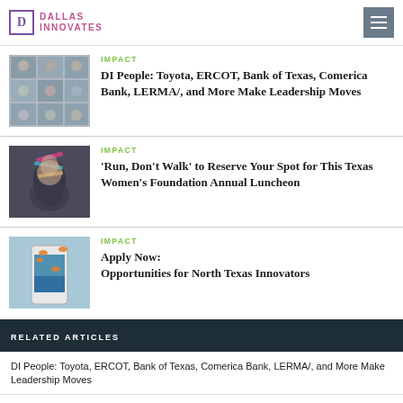Dallas Innovates
[Figure (photo): Grid of people headshots for DI People article]
IMPACT
DI People: Toyota, ERCOT, Bank of Texas, Comerica Bank, LERMA/, and More Make Leadership Moves
[Figure (photo): Woman with colorful accessories for Texas Women's Foundation article]
IMPACT
'Run, Don't Walk' to Reserve Your Spot for This Texas Women's Foundation Annual Luncheon
[Figure (photo): Fish leaping out of phone screen for North Texas Innovators article]
IMPACT
Apply Now: Opportunities for North Texas Innovators
RELATED ARTICLES
DI People: Toyota, ERCOT, Bank of Texas, Comerica Bank, LERMA/, and More Make Leadership Moves
'Run, Don't Walk' to Reserve Your Spot for This Texas Women's Foundation Annual Luncheon